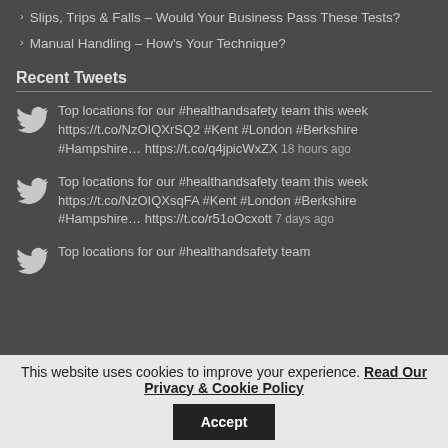Slips, Trips & Falls – Would Your Business Pass These Tests?
Manual Handling – How's Your Technique?
Recent Tweets
Top locations for our #healthandsafety team this week https://t.co/NzOIQXrSQ2 #Kent #London #Berkshire #Hampshire… https://t.co/q4jpicWxZX 18 hours ago
Top locations for our #healthandsafety team this week https://t.co/NzOIQXsqFA #Kent #London #Berkshire #Hampshire… https://t.co/r51oOcxott 7 days ago
Top locations for our #healthandsafety team
This website uses cookies to improve your experience. Read Our Privacy & Cookie Policy Accept